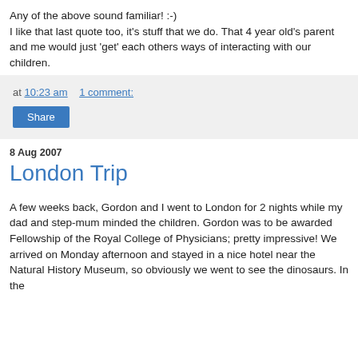Any of the above sound familiar! :-)
I like that last quote too, it's stuff that we do. That 4 year old's parent and me would just 'get' each others ways of interacting with our children.
at 10:23 am   1 comment:
Share
8 Aug 2007
London Trip
A few weeks back, Gordon and I went to London for 2 nights while my dad and step-mum minded the children. Gordon was to be awarded Fellowship of the Royal College of Physicians; pretty impressive! We arrived on Monday afternoon and stayed in a nice hotel near the Natural History Museum, so obviously we went to see the dinosaurs. In the